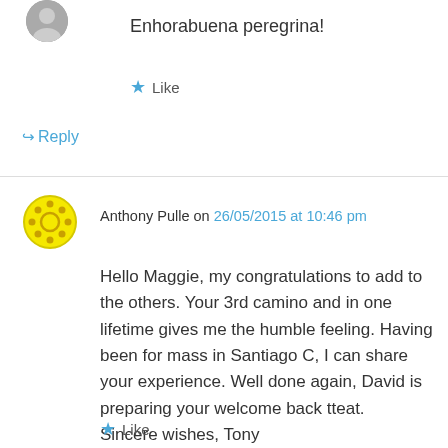Enhorabuena peregrina!
Like
Reply
Anthony Pulle on 26/05/2015 at 10:46 pm
Hello Maggie, my congratulations to add to the others. Your 3rd camino and in one lifetime gives me the humble feeling. Having been for mass in Santiago C, I can share your experience. Well done again, David is preparing your welcome back tteat. Sincere wishes, Tony
Like